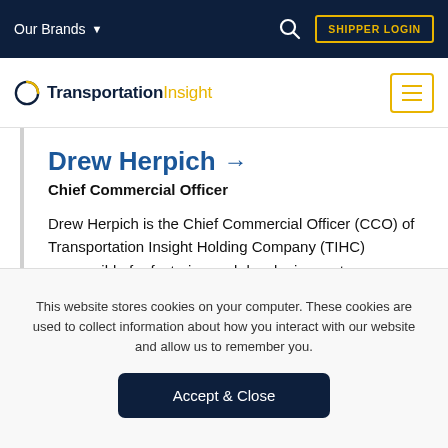Our Brands ▾   🔍   SHIPPER LOGIN
[Figure (logo): Transportation Insight logo with orange circle and text 'TransportationInsight' plus hamburger menu button]
Drew Herpich →
Chief Commercial Officer
Drew Herpich is the Chief Commercial Officer (CCO) of Transportation Insight Holding Company (TIHC) responsible for fostering and developing partner relationships with the most dynamic carrier
This website stores cookies on your computer. These cookies are used to collect information about how you interact with our website and allow us to remember you.
Accept & Close